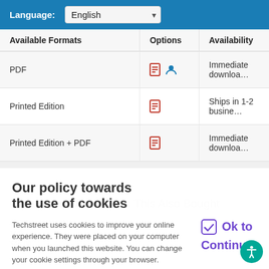| Available Formats | Options | Availability |
| --- | --- | --- |
| PDF | 🖹 👤 | Immediate downloa… |
| Printed Edition | 🖹 | Ships in 1-2 busine… |
| Printed Edition + PDF | 🖹 | Immediate downloa… |
Customers Who Bought This Also Bought
Our policy towards the use of cookies
Techstreet uses cookies to improve your online experience. They were placed on your computer when you launched this website. You can change your cookie settings through your browser.
Ok to Continue